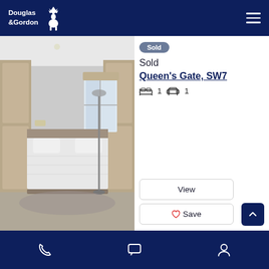Douglas & Gordon
[Figure (photo): Black and white interior photo of a bedroom with a murphy/wall bed pulled down, wooden wardrobe units on the sides, a floor lamp, and a window in the background.]
Sold
Sold
Queen's Gate, SW7
1 bedroom, 1 bathroom
View
Save
Phone | Chat | Account